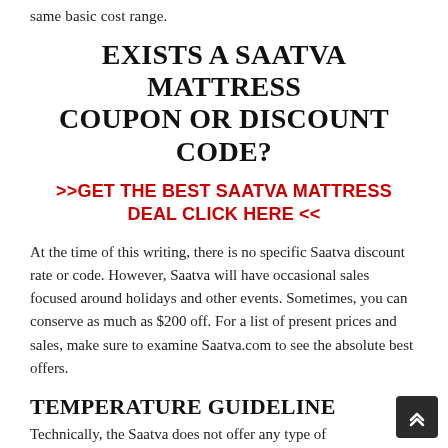same basic cost range.
EXISTS A SAATVA MATTRESS COUPON OR DISCOUNT CODE?
>>GET THE BEST SAATVA MATTRESS DEAL CLICK HERE <<
At the time of this writing, there is no specific Saatva discount rate or code. However, Saatva will have occasional sales focused around holidays and other events. Sometimes, you can conserve as much as $200 off. For a list of present prices and sales, make sure to examine Saatva.com to see the absolute best offers.
TEMPERATURE GUIDELINE
Technically, the Saatva does not offer any type of